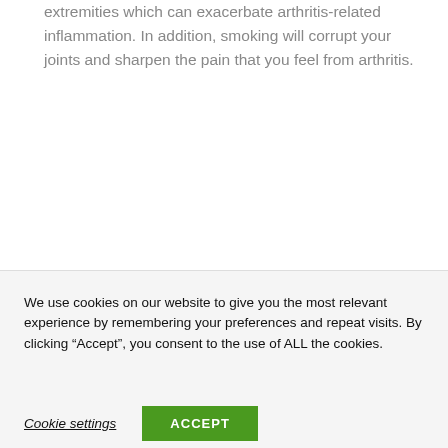extremities which can exacerbate arthritis-related inflammation. In addition, smoking will corrupt your joints and sharpen the pain that you feel from arthritis.
We use cookies on our website to give you the most relevant experience by remembering your preferences and repeat visits. By clicking “Accept”, you consent to the use of ALL the cookies.
Cookie settings
ACCEPT